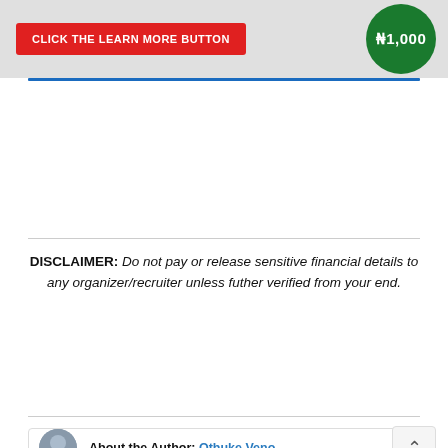[Figure (infographic): Banner with red button labeled 'CLICK THE LEARN MORE BUTTON' on a gray background, and a green circle on the right showing 'N1,000']
DISCLAIMER: Do not pay or release sensitive financial details to any organizer/recruiter unless futher verified from your end.
About the Author: Othuke Veno